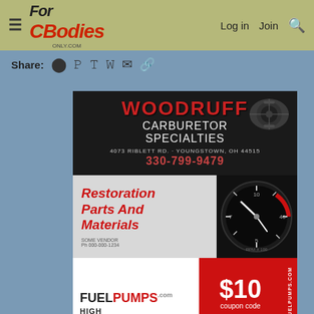For C Bodies Only - Log in | Join
Share:
[Figure (advertisement): Woodruff Carburetor Specialties ad - black background with red text, 4073 Riblett Rd. Youngstown OH 44515, 330-799-9479, carburetor image top right]
[Figure (advertisement): Restoration Parts and Materials ad - gray background with red italic text and classic car speedometer/clock image on right]
[Figure (advertisement): FuelPumps.com ad - red and white, $10 coupon code, High Performance]